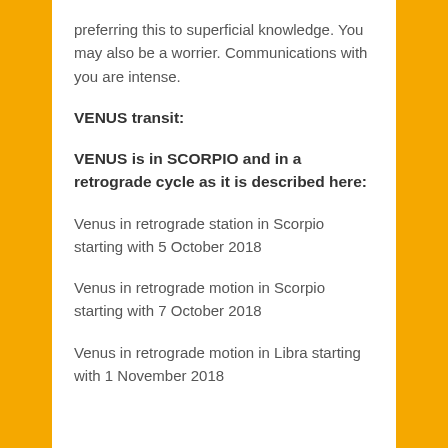preferring this to superficial knowledge. You may also be a worrier. Communications with you are intense.
VENUS transit:
VENUS is in SCORPIO and in a retrograde cycle as it is described here:
Venus in retrograde station in Scorpio starting with 5 October 2018
Venus in retrograde motion in Scorpio starting with 7 October 2018
Venus in retrograde motion in Libra starting with 1 November 2018